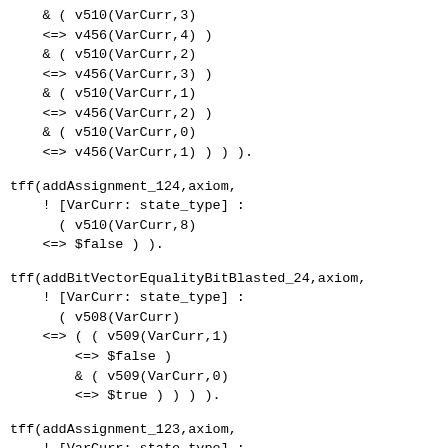& ( v510(VarCurr,3)
    <=> v456(VarCurr,4) )
    & ( v510(VarCurr,2)
    <=> v456(VarCurr,3) )
    & ( v510(VarCurr,1)
    <=> v456(VarCurr,2) )
    & ( v510(VarCurr,0)
    <=> v456(VarCurr,1) ) ) ).
tff(addAssignment_124,axiom,
    ! [VarCurr: state_type] :
      ( v510(VarCurr,8)
    <=> $false ) ).
tff(addBitVectorEqualityBitBlasted_24,axiom,
    ! [VarCurr: state_type] :
      ( v508(VarCurr)
    <=> ( ( v509(VarCurr,1)
        <=> $false )
        & ( v509(VarCurr,0)
        <=> $true ) ) ) ).
tff(addAssignment_123,axiom,
    ! [VarCurr: state_type] :
      ( v509(VarCurr,0)
    <=> v114(VarCurr) ) ).
tff(addAssignment_122,axiom,
    ! [VarCurr: state_type] :
      ( v509(VarCurr,1)
    <=> v96(VarCurr) ) ).